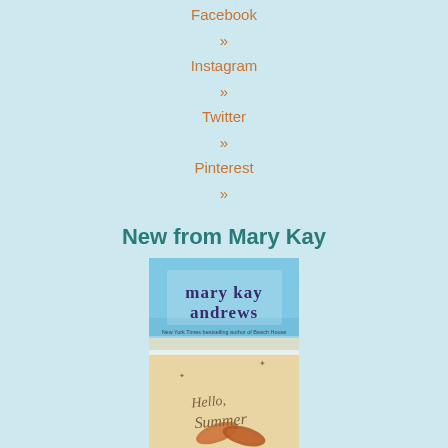Facebook »
Instagram »
Twitter »
Pinterest »
New from Mary Kay
[Figure (photo): Book cover of 'Hello Summer' by Mary Kay Andrews, showing beach sand with flip flops and the title written in sand, ocean waves in background.]
Hello Summer
BUY THE BOOK
Amazon »